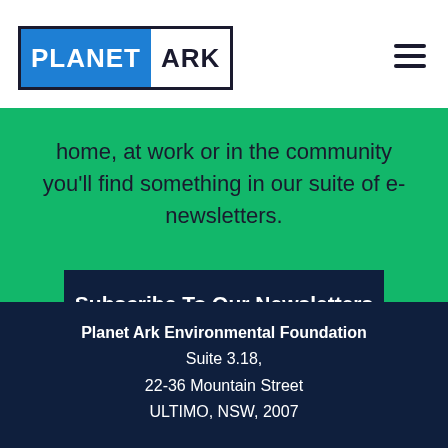PLANET ARK
home, at work or in the community you'll find something in our suite of e-newsletters.
Subscribe To Our Newsletters
Planet Ark Environmental Foundation
Suite 3.18,
22-36 Mountain Street
ULTIMO, NSW, 2007